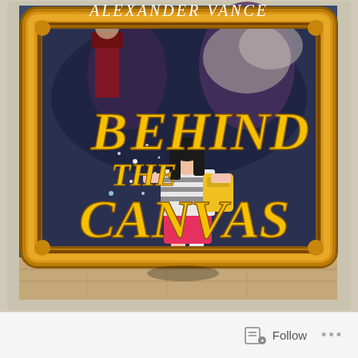[Figure (illustration): Book cover of 'Behind the Canvas' by Alexander Vance. Shows a decorative golden picture frame containing a dark fantasy scene with a girl in pink shorts, striped shirt, and yellow backpack stepping into a large painting. Large yellow stylized text reads 'Behind the Canvas'. Author name 'Alexander Vance' at top in white spooky lettering.]
Follow ...